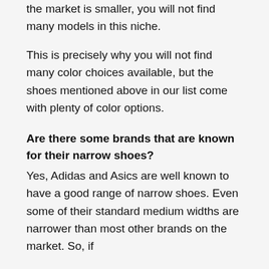the market is smaller, you will not find many models in this niche.
This is precisely why you will not find many color choices available, but the shoes mentioned above in our list come with plenty of color options.
Are there some brands that are known for their narrow shoes?
Yes, Adidas and Asics are well known to have a good range of narrow shoes. Even some of their standard medium widths are narrower than most other brands on the market. So, if